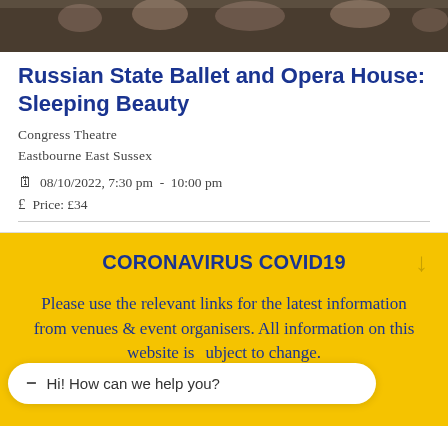[Figure (photo): Ballet performers on stage, group photo strip at the top of the page]
Russian State Ballet and Opera House: Sleeping Beauty
Congress Theatre
Eastbourne East Sussex
08/10/2022, 7:30 pm  -  10:00 pm
Price: £34
CORONAVIRUS COVID19
Please use the relevant links for the latest information from venues & event organisers. All information on this website is subject to change.